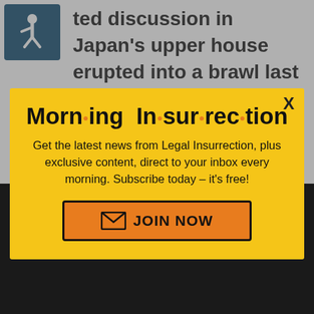ted discussion in Japan's upper house erupted into a brawl last week. Breaking with their pacifist past, for the first time since World War II Japan voted to allow its military to fight on foreign soil
[Figure (screenshot): Modal popup newsletter signup overlay for 'Morning Insurrection' with yellow background, bold title, subscription text, and JOIN NOW button]
X
✕